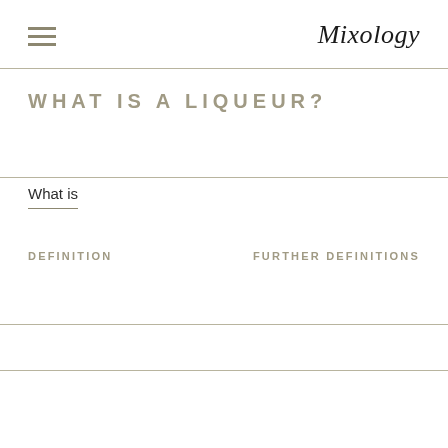Mixology
WHAT IS A LIQUEUR?
What is
DEFINITION
FURTHER DEFINITIONS